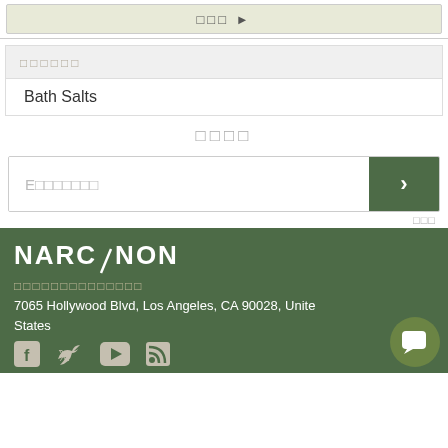[Figure (screenshot): Map area with square icons and arrow indicator]
□□□□□□
Bath Salts
□□□□
E□□□□□□□
□□□
[Figure (logo): NARCONON logo in white on dark green background]
□□□□□□□□□□□□□□
7065 Hollywood Blvd, Los Angeles, CA 90028, United States
[Figure (screenshot): Social media icons: Facebook, Twitter, YouTube, RSS feed]